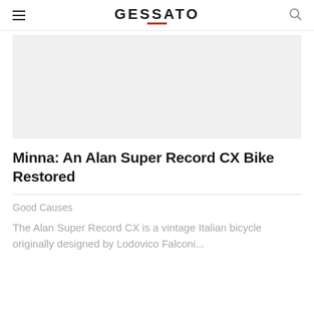GESSATO
[Figure (photo): Large image placeholder with light gray background, appears to be a photo area for the article about the Alan Super Record CX Bike]
Minna: An Alan Super Record CX Bike Restored
Good Causes
The Alan Super Record CX is a vintage Italian bicycle originally designed by Lodovico Falconi...